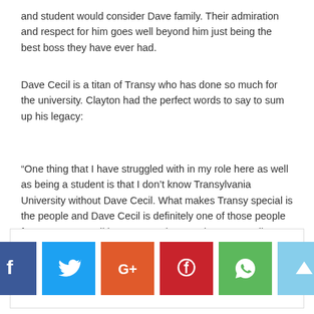and student would consider Dave family. Their admiration and respect for him goes well beyond him just being the best boss they have ever had.
Dave Cecil is a titan of Transy who has done so much for the university. Clayton had the perfect words to say to sum up his legacy:
“One thing that I have struggled with in my role here as well as being a student is that I don’t know Transylvania University without Dave Cecil. What makes Transy special is the people and Dave Cecil is definitely one of those people for me. Dave Cecil is Transy and Transy is Dave Cecil.”
[Figure (infographic): Social media sharing bar with icons for Facebook, Twitter, Google+, Pinterest, WhatsApp, and a back-to-top arrow button]